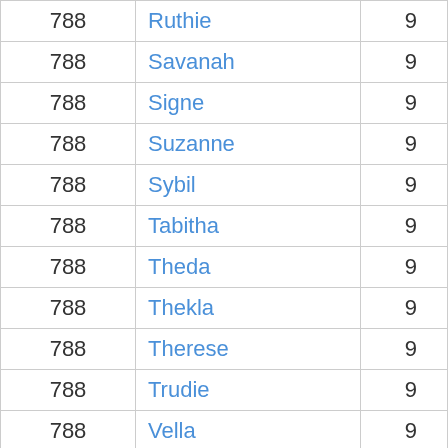| 788 | Ruthie | 9 |
| 788 | Savanah | 9 |
| 788 | Signe | 9 |
| 788 | Suzanne | 9 |
| 788 | Sybil | 9 |
| 788 | Tabitha | 9 |
| 788 | Theda | 9 |
| 788 | Thekla | 9 |
| 788 | Therese | 9 |
| 788 | Trudie | 9 |
| 788 | Vella | 9 |